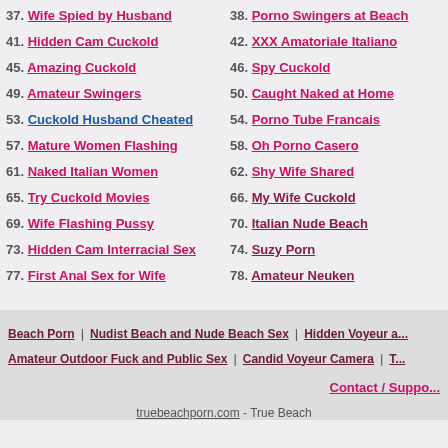37. Wife Spied by Husband
38. Porno Swingers at Beach
41. Hidden Cam Cuckold
42. XXX Amatoriale Italiano
45. Amazing Cuckold
46. Spy Cuckold
49. Amateur Swingers
50. Caught Naked at Home
53. Cuckold Husband Cheated
54. Porno Tube Francais
57. Mature Women Flashing
58. Oh Porno Casero
61. Naked Italian Women
62. Shy Wife Shared
65. Try Cuckold Movies
66. My Wife Cuckold
69. Wife Flashing Pussy
70. Italian Nude Beach
73. Hidden Cam Interracial Sex
74. Suzy Porn
77. First Anal Sex for Wife
78. Amateur Neuken
Beach Porn | Nudist Beach and Nude Beach Sex | Hidden Voyeur a... | Amateur Outdoor Fuck and Public Sex | Candid Voyeur Camera | T... Contact / Suppo... truebeachporn.com - True Beach